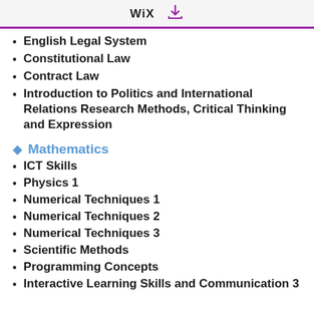WiX
English Legal System
Constitutional Law
Contract Law
Introduction to Politics and International Relations Research Methods, Critical Thinking and Expression
Mathematics
ICT Skills
Physics 1
Numerical Techniques 1
Numerical Techniques 2
Numerical Techniques 3
Scientific Methods
Programming Concepts
Interactive Learning Skills and Communication 3